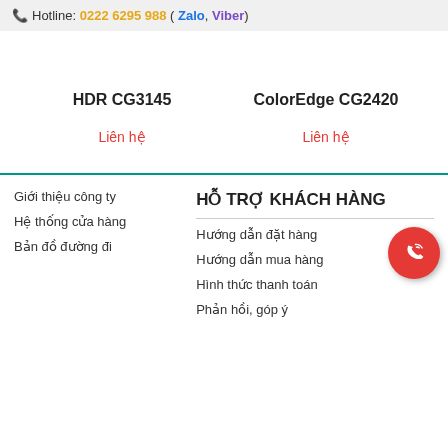Hotline: 0222 6295 988 ( Zalo, Viber)
HDR CG3145
ColorEdge CG2420
Liên hệ
Liên hệ
HỖ TRỢ KHÁCH HÀNG
Giới thiệu công ty
Hệ thống cửa hàng
Bản đồ đường đi
Hướng dẫn đặt hàng
Hướng dẫn mua hàng
Hình thức thanh toán
Phản hồi, góp ý